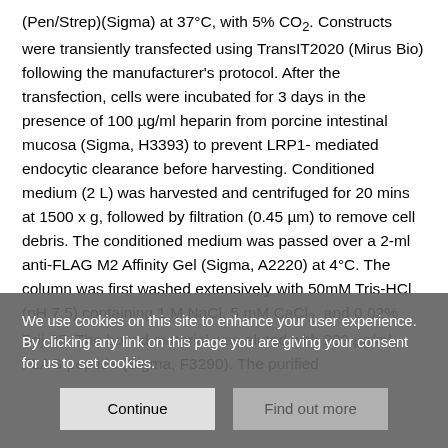(Pen/Strep)(Sigma) at 37°C, with 5% CO2. Constructs were transiently transfected using TransIT2020 (Mirus Bio) following the manufacturer's protocol. After the transfection, cells were incubated for 3 days in the presence of 100 µg/ml heparin from porcine intestinal mucosa (Sigma, H3393) to prevent LRP1-mediated endocytic clearance before harvesting. Conditioned medium (2 L) was harvested and centrifuged for 20 mins at 1500 x g, followed by filtration (0.45 µm) to remove cell debris. The conditioned medium was passed over a 2-ml anti-FLAG M2 Affinity Gel (Sigma, A2220) at 4°C. The column was first washed extensively with 50mM Tris-HCl (pH 7.5) containing 1 M NaCl, 5 mM CaCl2, and 0.02% Brij-35. The bound material was eluted with 200 µg/ml FLAG peptide (Sigma, F3290). The purified
We use cookies on this site to enhance your user experience. By clicking any link on this page you are giving your consent for us to set cookies.